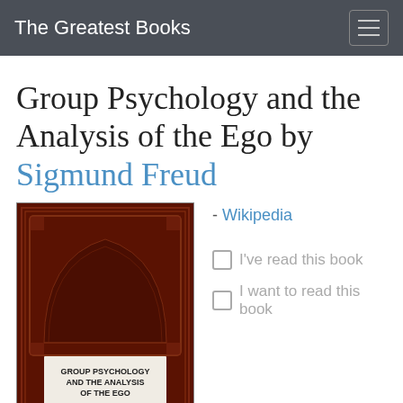The Greatest Books
Group Psychology and the Analysis of the Ego by Sigmund Freud
[Figure (photo): Book cover of 'Group Psychology and the Analysis of the Ego' by Sigmund Freud — dark maroon ornate hardcover with decorative arch motif and text label area in the center]
- Wikipedia
I've read this book
I want to read this book
The 411th greatest nonfiction book of all time